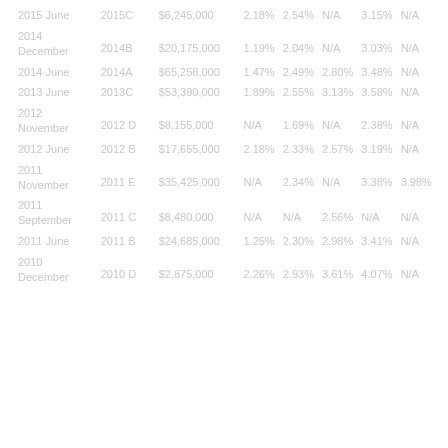| Date | Series | Amount | Rate1 | Rate2 | Rate3 | Rate4 | Rate5 |
| --- | --- | --- | --- | --- | --- | --- | --- |
| 2015 June | 2015C | $6,245,000 | 2.18% | 2.54% | N/A | 3.15% | N/A |
| 2014 December | 2014B | $20,175,000 | 1.19% | 2.04% | N/A | 3.03% | N/A |
| 2014 June | 2014A | $65,258,000 | 1.47% | 2.49% | 2.80% | 3.48% | N/A |
| 2013 June | 2013C | $53,390,000 | 1.89% | 2.55% | 3.13% | 3.58% | N/A |
| 2012 November | 2012 D | $8,155,000 | N/A | 1.69% | N/A | 2.38% | N/A |
| 2012 June | 2012 B | $17,655,000 | 2.18% | 2.33% | 2.57% | 3.19% | N/A |
| 2011 November | 2011 E | $35,425,000 | N/A | 2.34% | N/A | 3.38% | 3.98% |
| 2011 September | 2011 C | $8,480,000 | N/A | N/A | 2.56% | N/A | N/A |
| 2011 June | 2011 B | $24,685,000 | 1.25% | 2.30% | 2.98% | 3.41% | N/A |
| 2010 December | 2010 D | $2,875,000 | 2.26% | 2.93% | 3.61% | 4.07% | N/A |